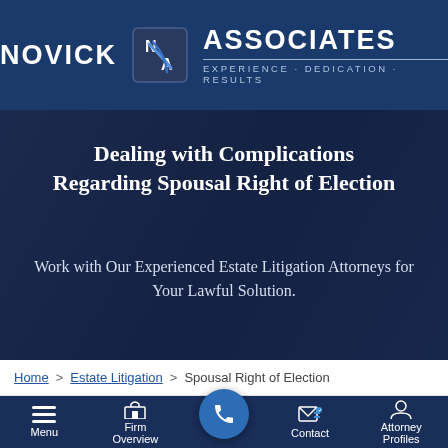[Figure (logo): Novick & Associates law firm logo with dark blue background, stylized 'N' and 'A' letters in a badge, tagline EXPERIENCE · DEDICATION · RESULTS]
[Figure (photo): Hero image with dark blue overlay showing legal/business setting with hands at a table]
Dealing with Complications Regarding Spousal Right of Election
Work with Our Experienced Estate Litigation Attorneys for Your Lawful Solution.
Home > Estate Litigation > Spousal Right of Election
[Figure (screenshot): Mobile navigation bar with Menu, Firm Overview, phone call button, Contact, and Attorney Profiles icons]